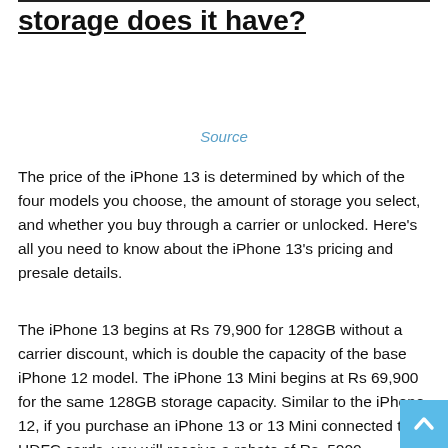storage does it have?
Source
The price of the iPhone 13 is determined by which of the four models you choose, the amount of storage you select, and whether you buy through a carrier or unlocked. Here's all you need to know about the iPhone 13's pricing and presale details.
The iPhone 13 begins at Rs 79,900 for 128GB without a carrier discount, which is double the capacity of the base iPhone 12 model. The iPhone 13 Mini begins at Rs 69,900 for the same 128GB storage capacity. Similar to the iPhone 12, if you purchase an iPhone 13 or 13 Mini connected to HDFC cards, you will receive a rebate of Rs. 5000.